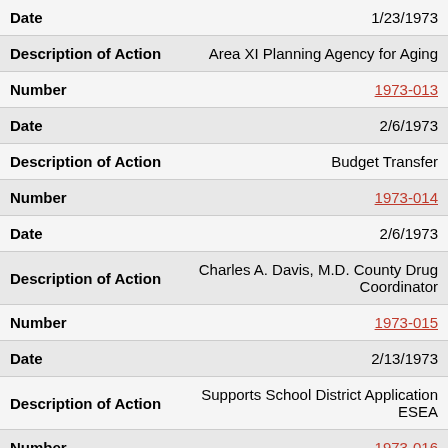| Field | Value |
| --- | --- |
| Date | 1/23/1973 |
| Description of Action | Area XI Planning Agency for Aging |
| Number | 1973-013 |
| Date | 2/6/1973 |
| Description of Action | Budget Transfer |
| Number | 1973-014 |
| Date | 2/6/1973 |
| Description of Action | Charles A. Davis, M.D. County Drug Coordinator |
| Number | 1973-015 |
| Date | 2/13/1973 |
| Description of Action | Supports School District Application ESEA |
| Number | 1973-016 |
| Date | 2/20/1973 |